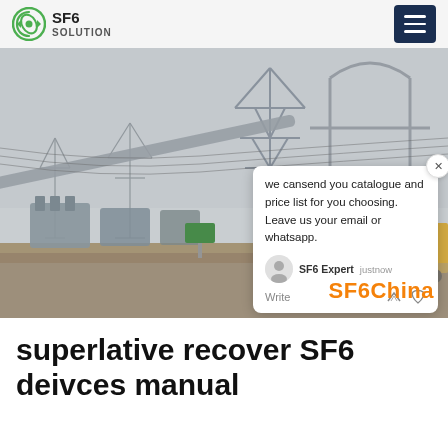SF6 SOLUTION
[Figure (photo): Electrical substation with high-voltage transmission towers and transformers; a chat popup overlay reads 'we cansend you catalogue and price list for you choosing. Leave us your email or whatsapp.' with SF6 Expert branding and SF6China watermark.]
superlative recover SF6 deivces manual